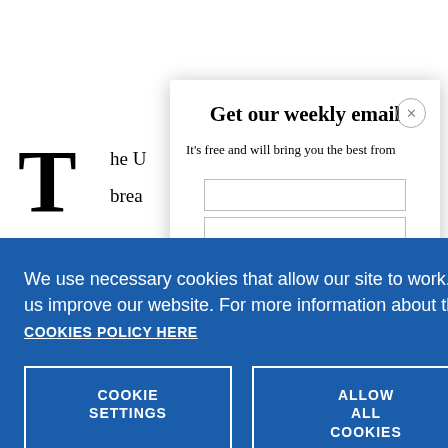T he U... brea...
[Figure (screenshot): Email subscription modal overlay with title 'Get our weekly email' and subtitle 'It's free and will bring you the best from']
We use necessary cookies that allow our site to work. We also set optional cookies that help us improve our website. For more information about the types of cookies we use. READ OUR COOKIES POLICY HERE
COOKIE SETTINGS
ALLOW ALL COOKIES
“weakene
data.